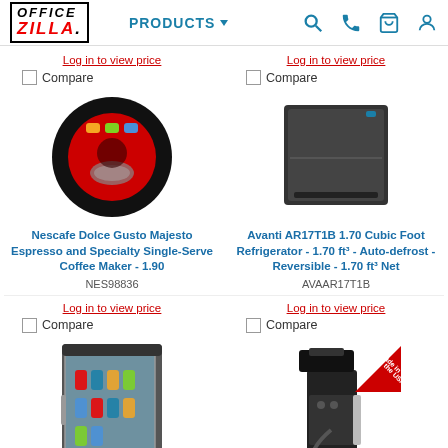OFFICE ZILLA - Products navigation with search, phone, cart, user icons
Log in to view price
Log in to view price
Compare
Compare
[Figure (photo): Nescafe Dolce Gusto Majesto espresso machine - black circular device with red interior and colored buttons]
[Figure (photo): Avanti AR17T1B compact black mini refrigerator, front view]
Nescafe Dolce Gusto Majesto Espresso and Specialty Single-Serve Coffee Maker - 1.90
NES98836
Avanti AR17T1B 1.70 Cubic Foot Refrigerator - 1.70 ft³ - Auto-defrost - Reversible - 1.70 ft³ Net
AVAAR17T1B
Log in to view price
Log in to view price
Compare
Compare
[Figure (photo): Avanti BCA306SSIS beverage cooler - glass door mini fridge with colorful cans visible inside]
[Figure (photo): BUNN Pourover Airpot Coffee brewer - black and silver commercial coffee maker with Made in the USA badge]
Avanti BCA306SSIS 3.0 Cubic
BUNN Pourover Airpot Coffee